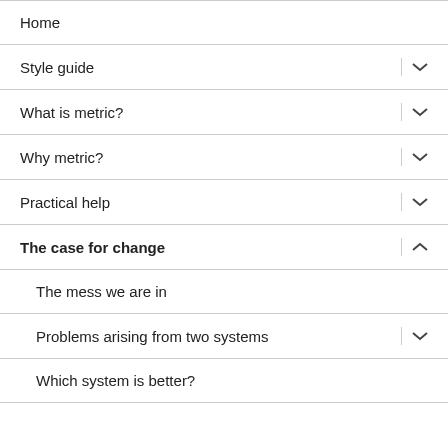Home
Style guide
What is metric?
Why metric?
Practical help
The case for change
The mess we are in
Problems arising from two systems
Which system is better?